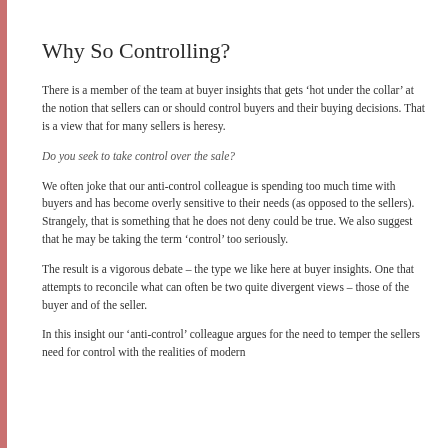Why So Controlling?
There is a member of the team at buyer insights that gets ‘hot under the collar’ at the notion that sellers can or should control buyers and their buying decisions. That is a view that for many sellers is heresy.
Do you seek to take control over the sale?
We often joke that our anti-control colleague is spending too much time with buyers and has become overly sensitive to their needs (as opposed to the sellers). Strangely, that is something that he does not deny could be true. We also suggest that he may be taking the term ‘control’ too seriously.
The result is a vigorous debate – the type we like here at buyer insights. One that attempts to reconcile what can often be two quite divergent views – those of the buyer and of the seller.
In this insight our ‘anti-control’ colleague argues for the need to temper the sellers need for control with the realities of modern